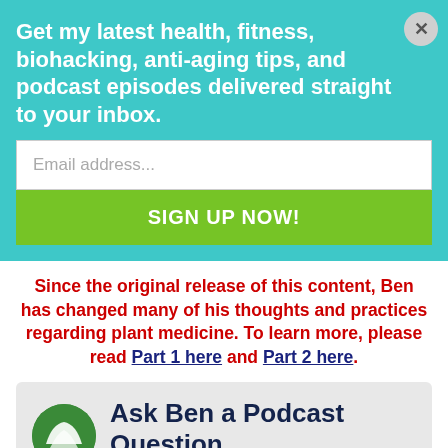Get my latest health, fitness, biohacking, anti-aging tips, and podcast episodes delivered straight to your inbox.
Email address...
SIGN UP NOW!
Since the original release of this content, Ben has changed many of his thoughts and practices regarding plant medicine. To learn more, please read Part 1 here and Part 2 here.
Ask Ben a Podcast Question